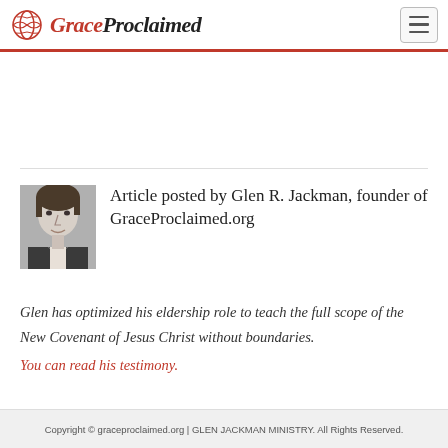GraceProclaimed
[Figure (photo): Black and white headshot photo of Glen R. Jackman, founder of GraceProclaimed.org]
Article posted by Glen R. Jackman, founder of GraceProclaimed.org
Glen has optimized his eldership role to teach the full scope of the New Covenant of Jesus Christ without boundaries.
You can read his testimony.
Copyright © graceproclaimed.org | GLEN JACKMAN MINISTRY. All Rights Reserved.